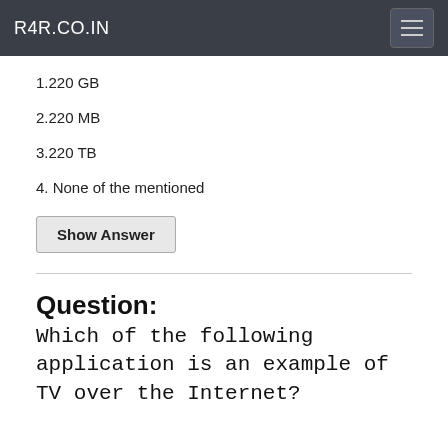R4R.CO.IN
1.220 GB
2.220 MB
3.220 TB
4. None of the mentioned
Show Answer
Question:
Which of the following application is an example of TV over the Internet?